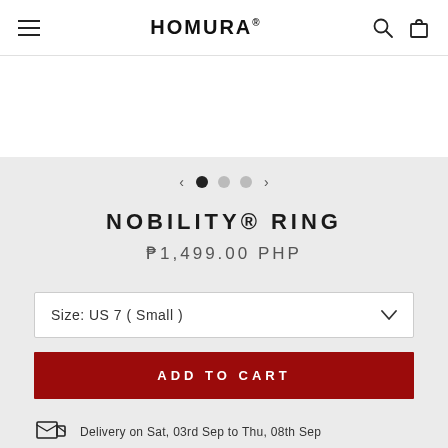HOMURA®
[Figure (screenshot): Carousel navigation with left arrow, three dots (first filled/active, two empty), and right arrow]
NOBILITY® RING
₱1,499.00 PHP
Size: US 7 ( Small )
ADD TO CART
Delivery on Sat, 03rd Sep to Thu, 08th Sep